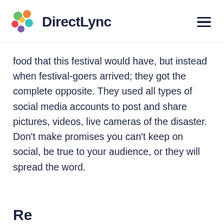DirectLync
food that this festival would have, but instead when festival-goers arrived; they got the complete opposite. They used all types of social media accounts to post and share pictures, videos, live cameras of the disaster. Don't make promises you can't keep on social, be true to your audience, or they will spread the word.
Re